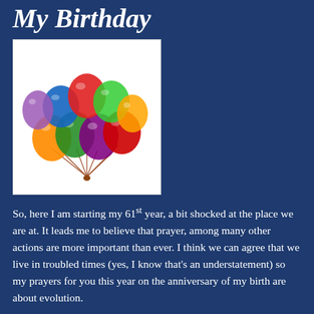My Birthday
[Figure (photo): A bunch of colorful balloons (red, blue, green, orange, purple) tied together with strings on a white background]
So, here I am starting my 61st year, a bit shocked at the place we are at. It leads me to believe that prayer, among many other actions are more important than ever. I think we can agree that we live in troubled times (yes, I know that's an understatement) so my prayers for you this year on the anniversary of my birth are about evolution.
First, if you are one of the few who believe that